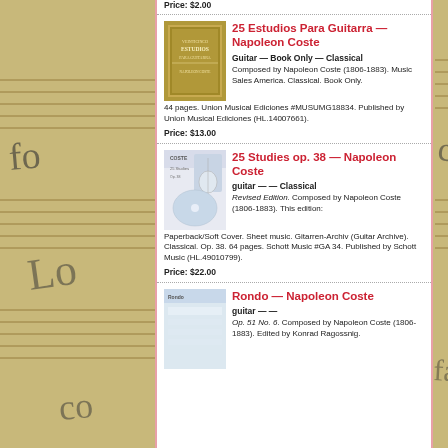Price: $2.00
25 Estudios Para Guitarra — Napoleon Coste
Guitar — Book Only — Classical
Composed by Napoleon Coste (1806-1883). Music Sales America. Classical. Book Only. 44 pages. Union Musical Ediciones #MUSUMG18834. Published by Union Musical Ediciones (HL.14007661).
Price: $13.00
25 Studies op. 38 — Napoleon Coste
guitar — — Classical
Revised Edition. Composed by Napoleon Coste (1806-1883). This edition: Paperback/Soft Cover. Sheet music. Gitarren-Archiv (Guitar Archive). Classical. Op. 38. 64 pages. Schott Music #GA 34. Published by Schott Music (HL.49010799).
Price: $22.00
Rondo — Napoleon Coste
guitar — —
Op. 51 No. 6. Composed by Napoleon Coste (1806-1883). Edited by Konrad Ragossnig.